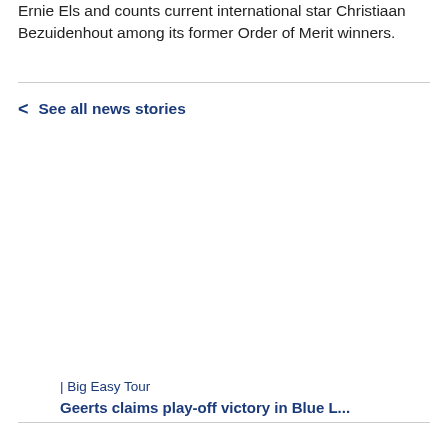Ernie Els and counts current international star Christiaan Bezuidenhout among its former Order of Merit winners.
< See all news stories
| Big Easy Tour
Geerts claims play-off victory in Blue L...